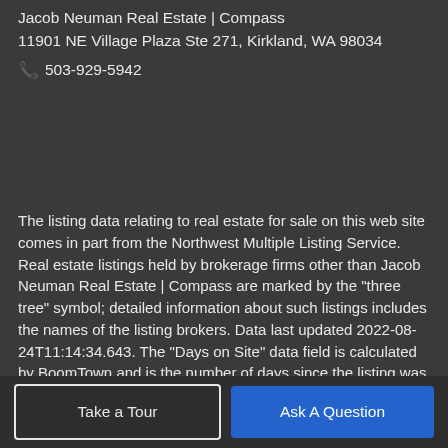Jacob Neuman Real Estate | Local Expertise. Client Focused. Results Driven
Jacob Neuman Real Estate | Compass
11901 NE Village Plaza Ste 271, Kirkland, WA 98034
📞 503-929-5942
The listing data relating to real estate for sale on this web site comes in part from the Northwest Multiple Listing Service. Real estate listings held by brokerage firms other than Jacob Neuman Real Estate | Compass are marked by the "three tree" symbol; detailed information about such listings includes the names of the listing brokers. Data last updated 2022-08-24T11:14:34.643. The "Days on Site" data field is calculated by BoomTown and is the number of days since the listing was originally received in our system. It is not the equivalent of "Days on Market".
Take a Tour
Ask A Question